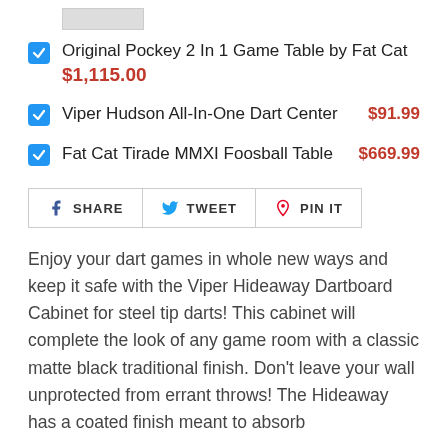Original Pockey 2 In 1 Game Table by Fat Cat $1,115.00
Viper Hudson All-In-One Dart Center $91.99
Fat Cat Tirade MMXI Foosball Table $669.99
Enjoy your dart games in whole new ways and keep it safe with the Viper Hideaway Dartboard Cabinet for steel tip darts! This cabinet will complete the look of any game room with a classic matte black traditional finish. Don't leave your wall unprotected from errant throws! The Hideaway has a coated finish meant to absorb